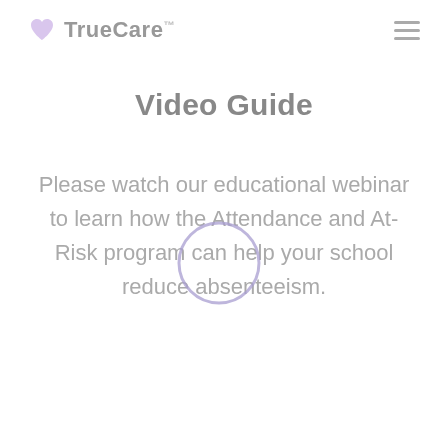TrueCare
Video Guide
Please watch our educational webinar to learn how the Attendance and At-Risk program can help your school reduce absenteeism.
[Figure (illustration): A circular play button outline centered over the body text, drawn in light purple/lavender color]